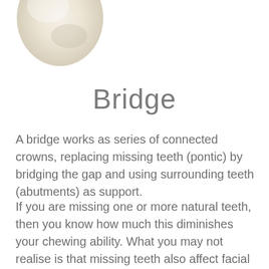[Figure (photo): Partial photo of a dental crown or tooth model, white/cream colored, positioned at the top-left of the page, partially cropped.]
Bridge
A bridge works as series of connected crowns, replacing missing teeth (pontic) by bridging the gap and using surrounding teeth (abutments) as support.
If you are missing one or more natural teeth, then you know how much this diminishes your chewing ability. What you may not realise is that missing teeth also affect facial structure, increasing stress on remaining teeth and can often give your cheeks a sunken appearance.